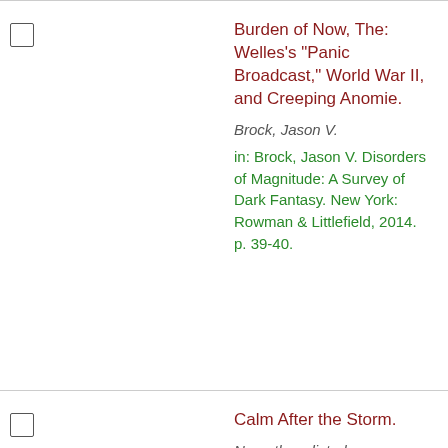Burden of Now, The: Welles's "Panic Broadcast," World War II, and Creeping Anomie.
Brock, Jason V.
in: Brock, Jason V. Disorders of Magnitude: A Survey of Dark Fantasy. New York: Rowman & Littlefield, 2014. p. 39-40.
Calm After the Storm.
No authors listed.
Washington Post Sec. 1, p. 8. November 2, 1938.